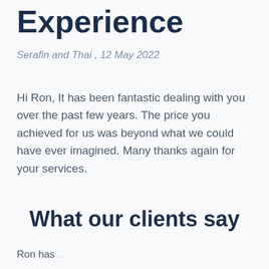Experience
Serafin and Thai , 12 May 2022
Hi Ron, It has been fantastic dealing with you over the past few years. The price you achieved for us was beyond what we could have ever imagined. Many thanks again for your services.
What our clients say
Ron has...